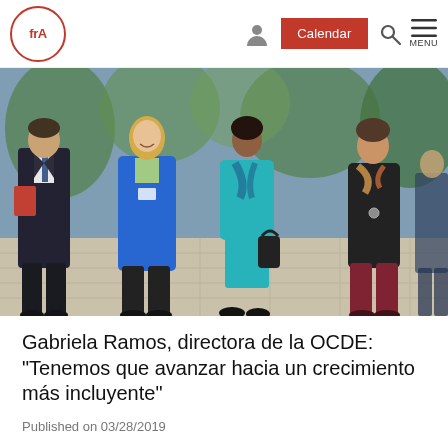frA | Calendar | MENU
[Figure (photo): Group of four people walking outdoors on a tiled plaza. From left: a man in a dark suit holding a red folder, a woman in a bright blue blazer, a woman in a teal suit with a black handbag, and a woman in a dark jacket with maroon trousers.]
Gabriela Ramos, directora de la OCDE: “Tenemos que avanzar hacia un crecimiento más incluyente”
Published on 03/28/2019